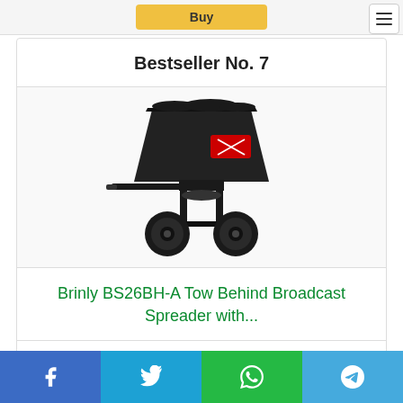Bestseller No. 7
[Figure (photo): Brinly BS26BH-A Tow Behind Broadcast Spreader product photo on white background, showing a black hopper with red logo mounted on a wheeled frame with two large pneumatic tires]
Brinly BS26BH-A Tow Behind Broadcast Spreader with...
Price: $314.00 ✓Prime
Social share bar: Facebook, Twitter, WhatsApp, Telegram